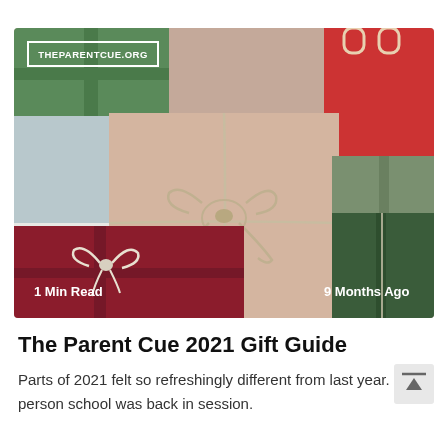[Figure (photo): Photo of wrapped Christmas gift boxes in red, green, dark red, and pink/peach colors with twine bows and ribbons. A gift tag in the center reads '2021 GIFT GUIDE'. Overlaid text shows 'THEPARENTCUE.ORG' in top-left, '1 Min Read' in bottom-left, and '9 Months Ago' in bottom-right.]
The Parent Cue 2021 Gift Guide
Parts of 2021 felt so refreshingly different from last year.  In-person school was back in session.